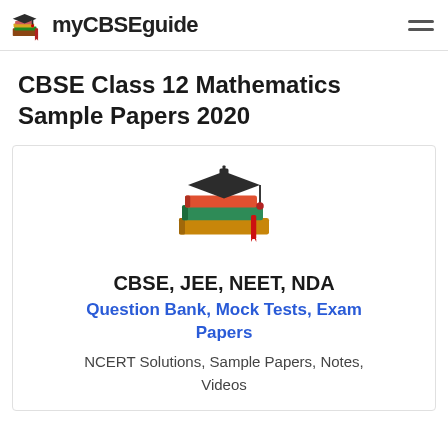myCBSEguide
CBSE Class 12 Mathematics Sample Papers 2020
[Figure (logo): Stack of books with graduation cap logo — myCBSEguide branding]
CBSE, JEE, NEET, NDA
Question Bank, Mock Tests, Exam Papers
NCERT Solutions, Sample Papers, Notes, Videos